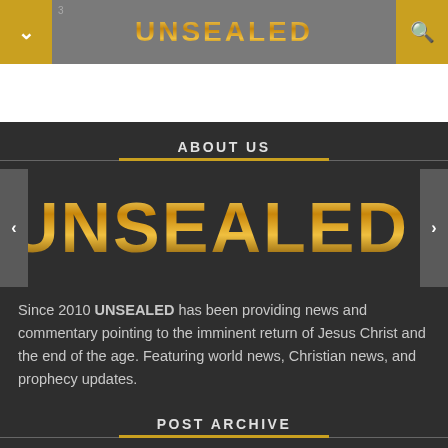UNSEALED
[Figure (logo): UNSEALED gold gradient logo text in slider area]
ABOUT US
Since 2010 UNSEALED has been providing news and commentary pointing to the imminent return of Jesus Christ and the end of the age. Featuring world news, Christian news, and prophecy updates.
POST ARCHIVE
2022 (22)